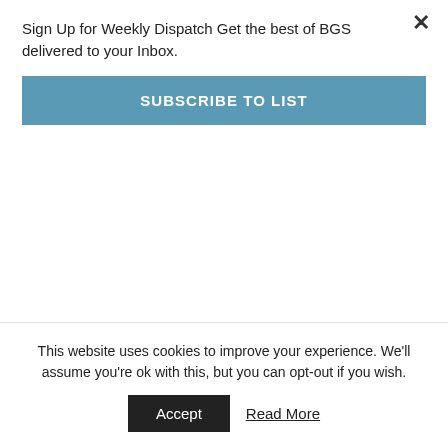Sign Up for Weekly Dispatch Get the best of BGS delivered to your Inbox.
SUBSCRIBE TO LIST
hardly be more unorthodox.
Eric and Leigh Gibson grew up on a dairy farm in Upstate New York just a couple miles from the Canadian border. Gritty, mid-'80s New York City was only a few hours South, but they felt like outsiders in their home state's cultural capital.
This website uses cookies to improve your experience. We'll assume you're ok with this, but you can opt-out if you wish.
Accept
Read More